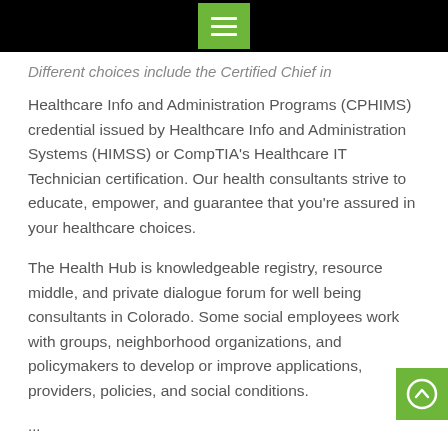[hamburger menu button in green square on black bar]
Different choices include the Certified Chief in Healthcare Info and Administration Programs (CPHIMS) credential issued by Healthcare Info and Administration Systems (HIMSS) or CompTIA's Healthcare IT Technician certification. Our health consultants strive to educate, empower, and guarantee that you're assured in your healthcare choices.
The Health Hub is knowledgeable registry, resource middle, and private dialogue forum for well being consultants in Colorado. Some social employees work with groups, neighborhood organizations, and policymakers to develop or improve applications, providers, policies, and social conditions.
...